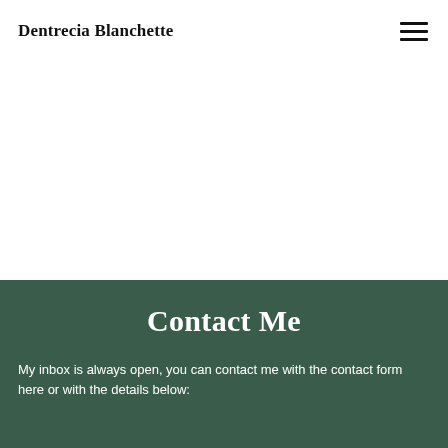Dentrecia Blanchette
Contact Me
My inbox is always open, you can contact me with the contact form here or with the details below: